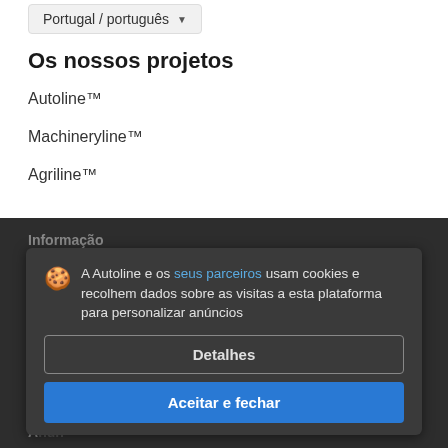Portugal / português
Os nossos projetos
Autoline™
Machineryline™
Agriline™
Informação
A Autoline e os seus parceiros usam cookies e recolhem dados sobre as visitas a esta plataforma para personalizar anúncios
Detalhes
Aceitar e fechar